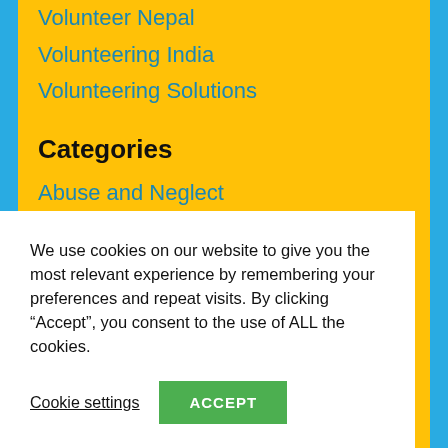Volunteer Nepal
Volunteering India
Volunteering Solutions
Categories
Abuse and Neglect
Adoption and Foster Care
Advocacy and Human Rights
Agriculture
Alameda
Albany
We use cookies on our website to give you the most relevant experience by remembering your preferences and repeat visits. By clicking “Accept”, you consent to the use of ALL the cookies.
Cookie settings
ACCEPT